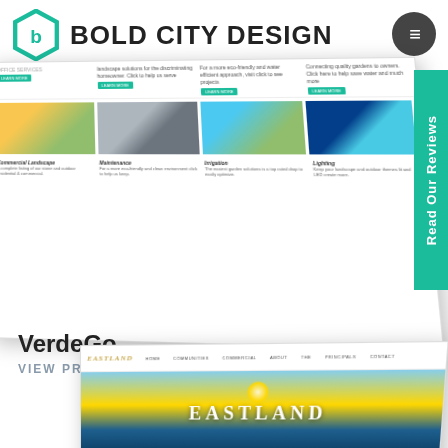[Figure (logo): Bold City Design logo with teal hexagon icon and bold black text]
[Figure (screenshot): VerdeGo website screenshot shown in perspective tilt, showing a landscaping company website with sections for Commercial Landscape, Maintenance, Irrigation, and Lighting with teal buttons and photos]
VerdeGo
VIEW PROJECT
[Figure (screenshot): Eastland website screenshot shown in perspective tilt, showing a coastal/real estate website with gold EASTLAND logo in nav and large EASTLAND hero text over a sunset beach background]
[Figure (other): Read Our Reviews teal vertical tab on right side of page]